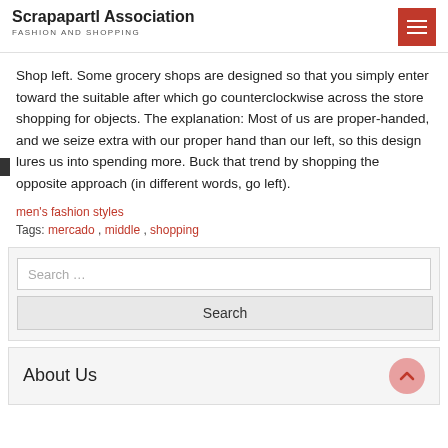Scrapapartl Association
FASHION AND SHOPPING
Shop left. Some grocery shops are designed so that you simply enter toward the suitable after which go counterclockwise across the store shopping for objects. The explanation: Most of us are proper-handed, and we seize extra with our proper hand than our left, so this design lures us into spending more. Buck that trend by shopping the opposite approach (in different words, go left).
men's fashion styles
Tags: mercado , middle , shopping
Search ...
Search
About Us